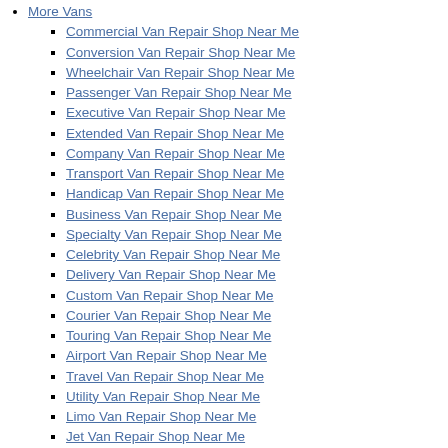More Vans
Commercial Van Repair Shop Near Me
Conversion Van Repair Shop Near Me
Wheelchair Van Repair Shop Near Me
Passenger Van Repair Shop Near Me
Executive Van Repair Shop Near Me
Extended Van Repair Shop Near Me
Company Van Repair Shop Near Me
Transport Van Repair Shop Near Me
Handicap Van Repair Shop Near Me
Business Van Repair Shop Near Me
Specialty Van Repair Shop Near Me
Celebrity Van Repair Shop Near Me
Delivery Van Repair Shop Near Me
Custom Van Repair Shop Near Me
Courier Van Repair Shop Near Me
Touring Van Repair Shop Near Me
Airport Van Repair Shop Near Me
Travel Van Repair Shop Near Me
Utility Van Repair Shop Near Me
Limo Van Repair Shop Near Me
Jet Van Repair Shop Near Me